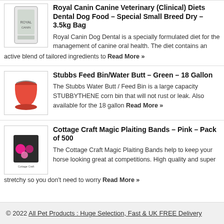Royal Canin Canine Veterinary (Clinical) Diets Dental Dog Food – Special Small Breed Dry – 3.5kg Bag
Royal Canin Dog Dental is a specially formulated diet for the management of canine oral health. The diet contains an active blend of tailored ingredients to Read More »
Stubbs Feed Bin/Water Butt – Green – 18 Gallon
The Stubbs Water Butt / Feed Bin is a large capacity STUBBYTHENE corn bin that will not rust or leak. Also available for the 18 gallon Read More »
Cottage Craft Magic Plaiting Bands – Pink – Pack of 500
The Cottage Craft Magic Plaiting Bands help to keep your horse looking great at competitions. High quality and super stretchy so you don't need to worry Read More »
© 2022 All Pet Products : Huge Selection, Fast & UK FREE Delivery